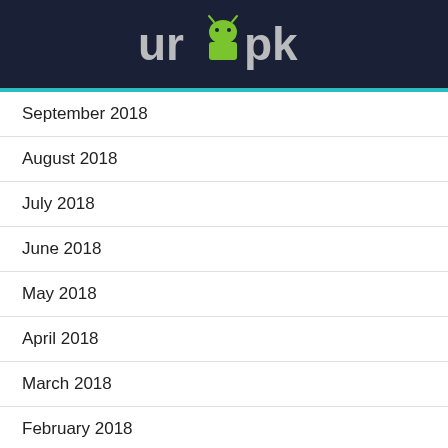urapk
September 2018
August 2018
July 2018
June 2018
May 2018
April 2018
March 2018
February 2018
January 2018
December 2017
November 2017